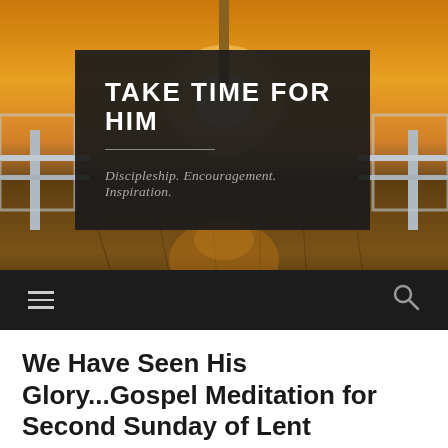[Figure (photo): Sunset dock/pier scene with warm orange sky, wooden planks, and white railings on either side, used as hero background image for a website header]
TAKE TIME FOR HIM
Discipleship. Encouragement. Inspiration.
Navigation bar with hamburger menu and search icon
We Have Seen His Glory...Gospel Meditation for Second Sunday of Lent